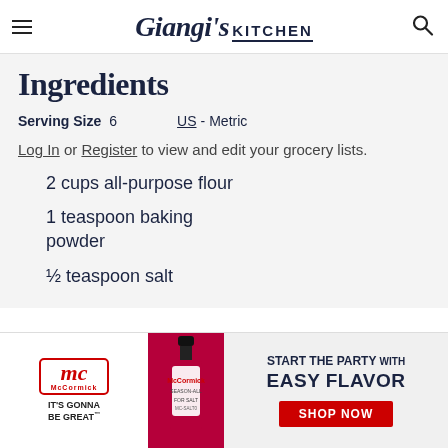Giangi's KITCHEN
Ingredients
Serving Size 6   US - Metric
Log In or Register to view and edit your grocery lists.
2 cups all-purpose flour
1 teaspoon baking powder
½ teaspoon salt
[Figure (infographic): McCormick advertisement banner: McCormick logo with tagline 'It's gonna be great', spice bottle image, text 'START THE PARTY WITH EASY FLAVOR' and a red 'SHOP NOW' button]